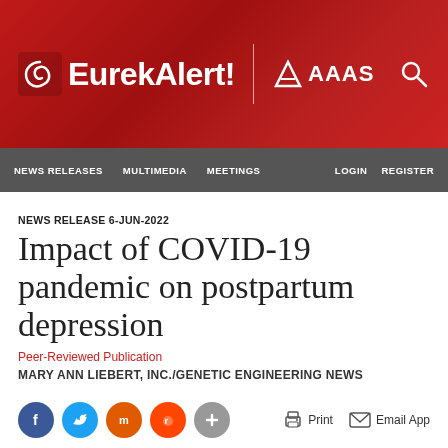[Figure (logo): EurekAlert! AAAS website header with red background, EurekAlert! logo with spiral icon, AAAS logo, and search icon]
NEWS RELEASES   MULTIMEDIA   MEETINGS   LOGIN   REGISTER
NEWS RELEASE 6-JUN-2022
Impact of COVID-19 pandemic on postpartum depression
Peer-Reviewed Publication
MARY ANN LIEBERT, INC./GENETIC ENGINEERING NEWS
[Figure (infographic): Social share buttons: Facebook, Twitter, Mendeley, Reddit, plus button; and action links: Print, Email App]